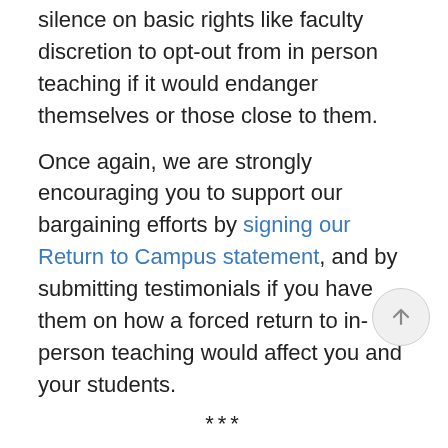silence on basic rights like faculty discretion to opt-out from in person teaching if it would endanger themselves or those close to them.
Once again, we are strongly encouraging you to support our bargaining efforts by signing our Return to Campus statement, and by submitting testimonials if you have them on how a forced return to in-person teaching would affect you and your students.
***
We issue regular updates via email, Facebook, Twitter, YouTube, and on our website. We encourage everyone to like and follow us on social media. If you want to contribute your story, pictures, video, or other content related to the